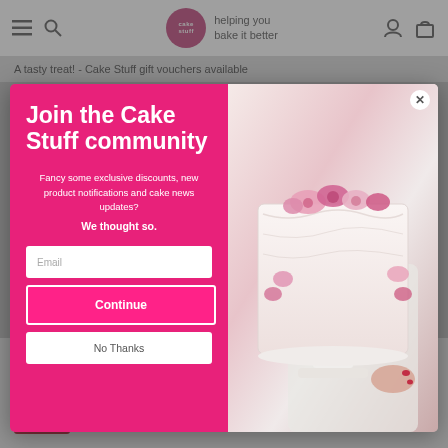Cake Stuff - helping you bake it better
A tasty treat! - Cake Stuff gift vouchers available
Join the Cake Stuff community
Fancy some exclusive discounts, new product notifications and cake news updates?
We thought so.
Email
Continue
No Thanks
[Figure (photo): Photo of a white cake decorated with pink roses and tulips on a white cake stand, held by a person wearing a white t-shirt]
RENSHAW
£2.76
RRP: £3.49  |  Save: £0.73